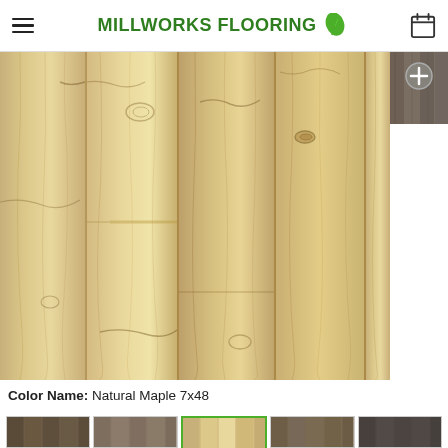Millworks Flooring
[Figure (photo): Close-up photo of Natural Maple 7x48 wood-look flooring planks showing light tan/beige tones with natural wood grain and knot patterns]
[Figure (photo): Small thumbnail of a darker gray/brown flooring color with a plus icon overlay]
Color Name: Natural Maple 7x48
[Figure (photo): Row of 5 small color thumbnail swatches at bottom of page showing various flooring color options]